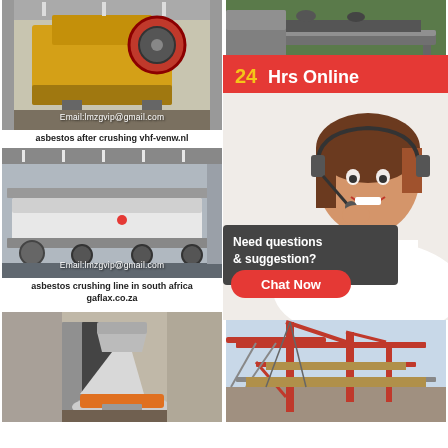[Figure (photo): Industrial jaw crusher machine in factory, yellow body, Email:lmzgvip@gmail.com watermark]
asbestos after crushing vhf-venw.nl
[Figure (photo): Rock crushing conveyor equipment outdoors, Email:lmzg watermark, partially covered by chat widget]
asbestos crushing africa
[Figure (photo): Industrial crushing production line in factory building, Email:lmzgvip@gmail.com watermark]
asbestos crushing line in south africa gaflax.co.za
[Figure (photo): Industrial factory interior with machinery, Email:lmzg watermark, partially covered by chat widget]
asbestos crushing achterhoeksebouwcooperatie.nl
[Figure (photo): Cone crusher machine in warehouse building]
[Figure (photo): Construction site with red crane structure and scaffolding]